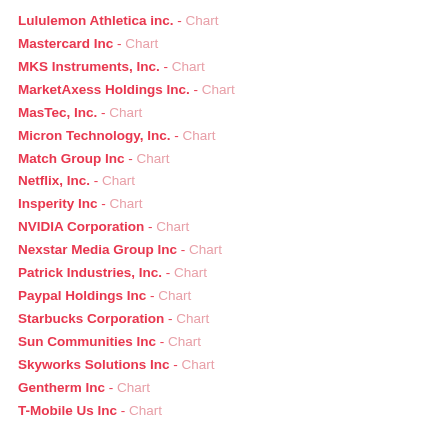Lululemon Athletica inc. - Chart
Mastercard Inc - Chart
MKS Instruments, Inc. - Chart
MarketAxess Holdings Inc. - Chart
MasTec, Inc. - Chart
Micron Technology, Inc. - Chart
Match Group Inc - Chart
Netflix, Inc. - Chart
Insperity Inc - Chart
NVIDIA Corporation - Chart
Nexstar Media Group Inc - Chart
Patrick Industries, Inc. - Chart
Paypal Holdings Inc - Chart
Starbucks Corporation - Chart
Sun Communities Inc - Chart
Skyworks Solutions Inc - Chart
Gentherm Inc - Chart
T-Mobile Us Inc - Chart